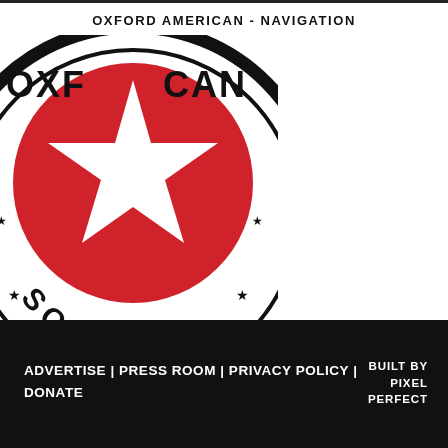OXFORD AMERICAN - NAVIGATION
[Figure (logo): Oxford American Society circular logo with red circle and white star in center, text 'OXFORD AMERICAN SOCIETY' around the ring, partially cropped.]
ADVERTISE | PRESS ROOM | PRIVACY POLICY | DONATE
BUILT BY PIXEL PERFECT